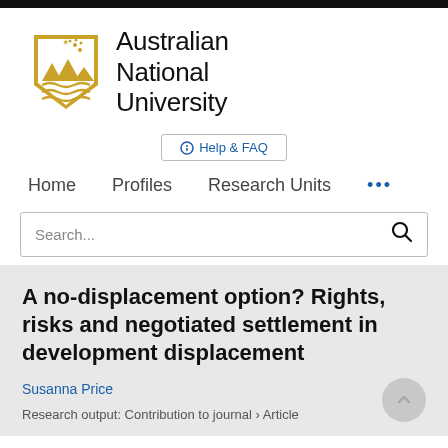[Figure (logo): Australian National University shield logo with gold mountain and wave design and stars, next to bold text 'Australian National University']
Help & FAQ
Home   Profiles   Research Units   ...
Search...
A no-displacement option? Rights, risks and negotiated settlement in development displacement
Susanna Price
Research output: Contribution to journal › Article